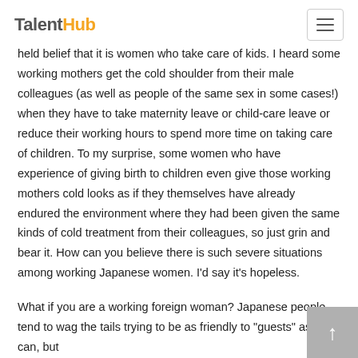TalentHub
held belief that it is women who take care of kids. I heard some working mothers get the cold shoulder from their male colleagues (as well as people of the same sex in some cases!) when they have to take maternity leave or child-care leave or reduce their working hours to spend more time on taking care of children. To my surprise, some women who have experience of giving birth to children even give those working mothers cold looks as if they themselves have already endured the environment where they had been given the same kinds of cold treatment from their colleagues, so just grin and bear it. How can you believe there is such severe situations among working Japanese women. I'd say it's hopeless.
What if you are a working foreign woman? Japanese people tend to wag the tails trying to be as friendly to "guests" as they can, but